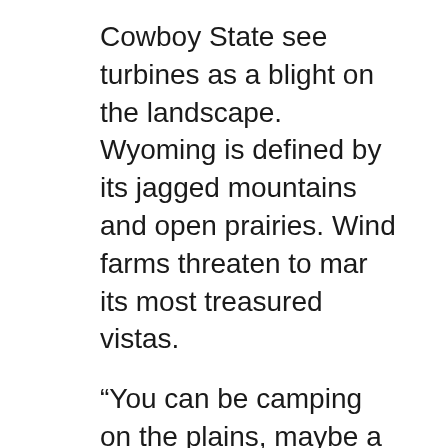Cowboy State see turbines as a blight on the landscape. Wyoming is defined by its jagged mountains and open prairies. Wind farms threaten to mar its most treasured vistas.
“You can be camping on the plains, maybe a sleeping bag rolled out on the ground, not even a tent over your head, and you can feel like you are on the same plains that Native Americans have experienced for millennia,” said Godby. “But then you turn around and look behind you, and the entire horizon might be red blinking lights from the wind turbines, and those really kind of infuriate people.”